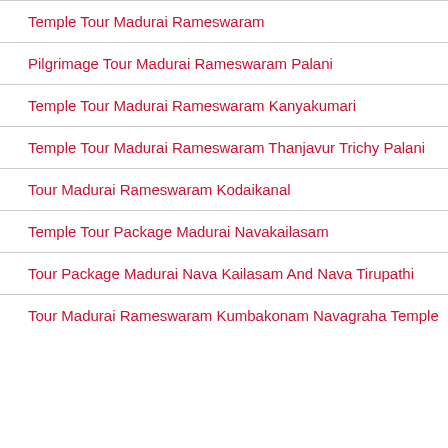Temple Tour Madurai Rameswaram
Pilgrimage Tour Madurai Rameswaram Palani
Temple Tour Madurai Rameswaram Kanyakumari
Temple Tour Madurai Rameswaram Thanjavur Trichy Palani
Tour Madurai Rameswaram Kodaikanal
Temple Tour Package Madurai Navakailasam
Tour Package Madurai Nava Kailasam And Nava Tirupathi
Tour Madurai Rameswaram Kumbakonam Navagraha Temple